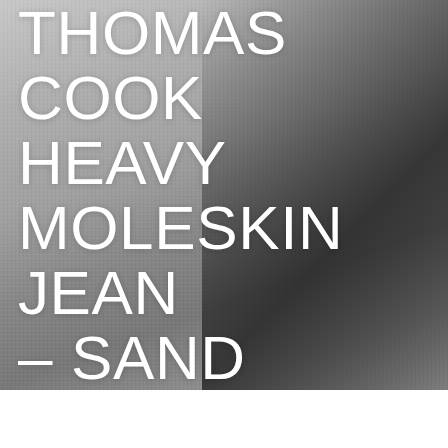[Figure (photo): Close-up photograph of a man wearing a grey suit vest with a white dress shirt and dark navy/black tie. The image is cropped from chest to neck, showing the textured fabric of the vest and the knot of the tie.]
THOMAS COOK HEAVY MOLESKIN JEAN – SAND